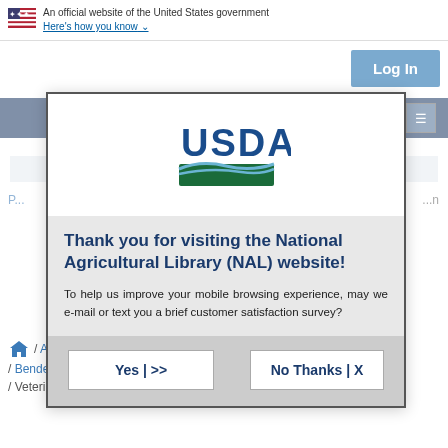An official website of the United States government Here's how you know
[Figure (screenshot): USDA National Agricultural Library website screenshot with a modal dialog overlay. The modal contains the USDA logo, a thank-you message, and Yes/No buttons for a customer satisfaction survey.]
Thank you for visiting the National Agricultural Library (NAL) website!
To help us improve your mobile browsing experience, may we e-mail or text you a brief customer satisfaction survey?
Yes | >>
No Thanks | X
/ A...
/ Bendele, Kylie G. / microbiome / pathogens / Veterinary Pest Genomics Center